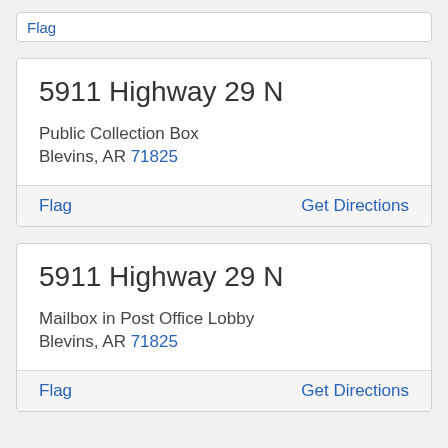Flag (partial stub card at top)
5911 Highway 29 N
Public Collection Box
Blevins, AR 71825
Flag   Get Directions
5911 Highway 29 N
Mailbox in Post Office Lobby
Blevins, AR 71825
Flag   Get Directions